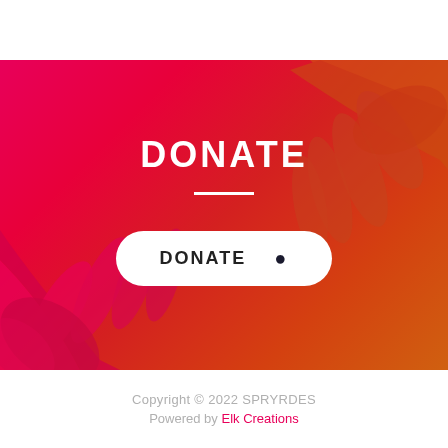[Figure (photo): Red-orange gradient hero background with two hands reaching toward each other — one from upper right (orange tint) and one from lower left (pink/magenta tint)]
DONATE
DONATE (button with PayPal icon)
Copyright © 2022 SPRYRDES
Powered by Elk Creations